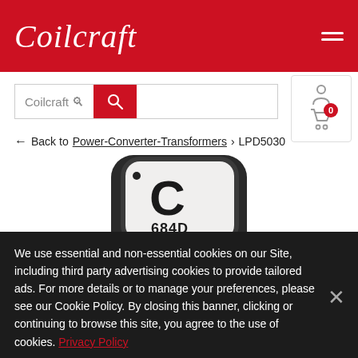Coilcraft
[Figure (screenshot): Coilcraft website screenshot showing search bar with 'Coilcraft' text, a red search button with magnifying glass icon, and a user/cart icon with 0 items badge]
← Back to Power-Converter-Transformers > LPD5030
[Figure (photo): Coilcraft electronic inductor component marked '684D' on top, black body with rounded corners, photographed from above]
We use essential and non-essential cookies on our Site, including third party advertising cookies to provide tailored ads. For more details or to manage your preferences, please see our Cookie Policy. By closing this banner, clicking or continuing to browse this site, you agree to the use of cookies. Privacy Policy